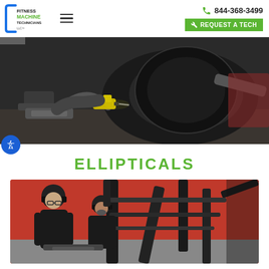Fitness Machine Technicians | 844-368-3499 | REQUEST A TECH
[Figure (photo): Technician using a yellow power drill to repair an elliptical fitness machine in a gym setting]
ELLIPTICALS
[Figure (photo): Two technicians in black uniforms working on a large piece of fitness equipment with a red wall background]